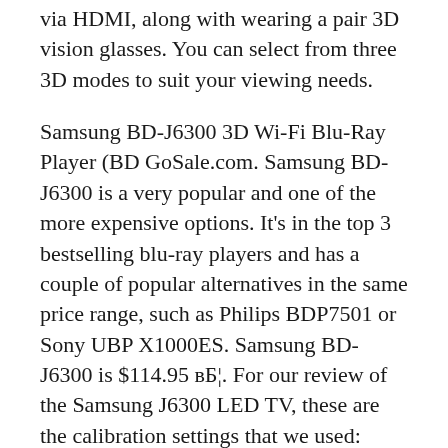via HDMI, along with wearing a pair 3D vision glasses. You can select from three 3D modes to suit your viewing needs.
Samsung BD-J6300 3D Wi-Fi Blu-Ray Player (BD GoSale.com. Samsung BD-J6300 is a very popular and one of the more expensive options. It's in the top 3 bestselling blu-ray players and has a couple of popular alternatives in the same price range, such as Philips BDP7501 or Sony UBP X1000ES. Samsung BD-J6300 is $114.95 вБ¦. For our review of the Samsung J6300 LED TV, these are the calibration settings that we used: Movie picture mode is the most accurate mode by default. If you find our settings too dark, increase 'Backlight' as much as you want. You might also want to increase sharpness if вБ¦.